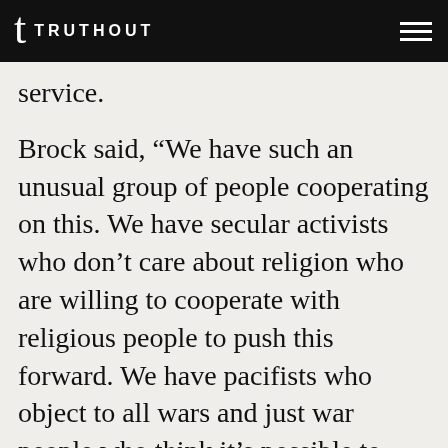TRUTHOUT
service.
Brock said, “We have such an unusual group of people cooperating on this. We have secular activists who don’t care about religion who are willing to cooperate with religious people to push this forward. We have pacifists who object to all wars and just war people who think it’s possible to have a just war coming together rather than arguing. They’re coming together because we all believe that protecting moral conscience is crucial.”